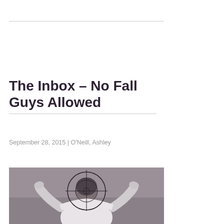The Inbox – No Fall Guys Allowed
September 28, 2015 | O'Neill, Ashley
[Figure (photo): Person viewed from behind with hands raised, crosshair/target overlay on head, black and white/sepia toned photo against grey background]